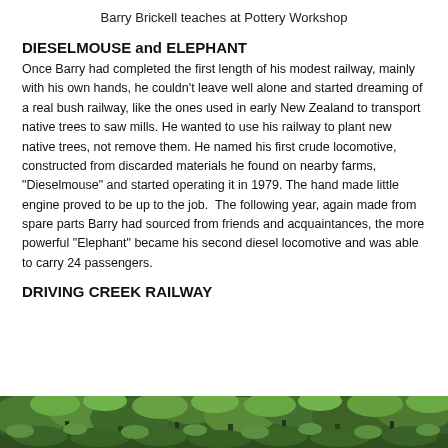Barry Brickell teaches at Pottery Workshop
DIESELMOUSE and ELEPHANT
Once Barry had completed the first length of his modest railway, mainly with his own hands, he couldn't leave well alone and started dreaming of a real bush railway, like the ones used in early New Zealand to transport native trees to saw mills. He wanted to use his railway to plant new native trees, not remove them. He named his first crude locomotive, constructed from discarded materials he found on nearby farms, “Dieselmouse” and started operating it in 1979. The hand made little engine proved to be up to the job.  The following year, again made from spare parts Barry had sourced from friends and acquaintances, the more powerful “Elephant” became his second diesel locomotive and was able to carry 24 passengers.
DRIVING CREEK RAILWAY
[Figure (photo): A strip photo of lush green bush/rainforest scenery, likely along the Driving Creek Railway route.]